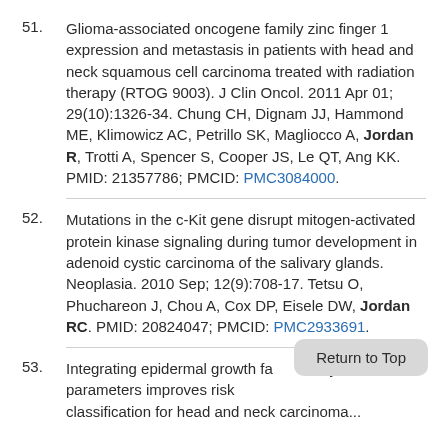51. Glioma-associated oncogene family zinc finger 1 expression and metastasis in patients with head and neck squamous cell carcinoma treated with radiation therapy (RTOG 9003). J Clin Oncol. 2011 Apr 01; 29(10):1326-34. Chung CH, Dignam JJ, Hammond ME, Klimowicz AC, Petrillo SK, Magliocco A, Jordan R, Trotti A, Spencer S, Cooper JS, Le QT, Ang KK. PMID: 21357786; PMCID: PMC3084000.
52. Mutations in the c-Kit gene disrupt mitogen-activated protein kinase signaling during tumor development in adenoid cystic carcinoma of the salivary glands. Neoplasia. 2010 Sep; 12(9):708-17. Tetsu O, Phuchareon J, Chou A, Cox DP, Eisele DW, Jordan RC. PMID: 20824047; PMCID: PMC2933691.
53. Integrating epidermal growth factor receptor assay with clinical parameters improves risk classification for...